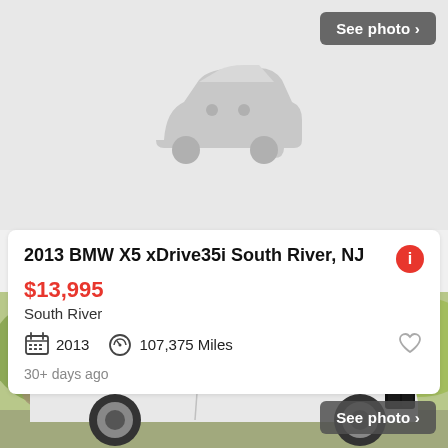[Figure (photo): Placeholder car silhouette icon on light gray background with 'See photo >' button in dark gray]
2013 BMW X5 xDrive35i South River, NJ
$13,995
South River
2013   107,375 Miles
30+ days ago
[Figure (photo): Front-side view of a white BMW coupe parked outdoors with trees and rocks in background, 'See photo >' button overlay]